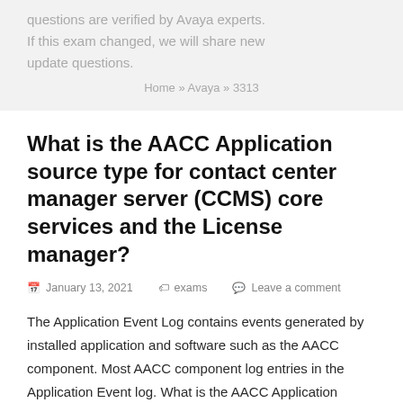questions are verified by Avaya experts. If this exam changed, we will share new update questions.
Home » Avaya » 3313
What is the AACC Application source type for contact center manager server (CCMS) core services and the License manager?
January 13, 2021   exams   Leave a comment
The Application Event Log contains events generated by installed application and software such as the AACC component. Most AACC component log entries in the Application Event log. What is the AACC Application